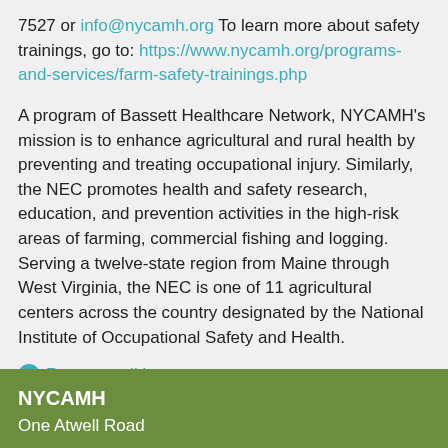7527 or info@nycamh.org To learn more about safety trainings, go to: https://www.nycamh.org/programs-and-services/farm-safety-trainings.php
A program of Bassett Healthcare Network, NYCAMH's mission is to enhance agricultural and rural health by preventing and treating occupational injury. Similarly, the NEC promotes health and safety research, education, and prevention activities in the high-risk areas of farming, commercial fishing and logging. Serving a twelve-state region from Maine through West Virginia, the NEC is one of 11 agricultural centers across the country designated by the National Institute of Occupational Safety and Health.
Return to all latest news.
NYCAMH
One Atwell Road